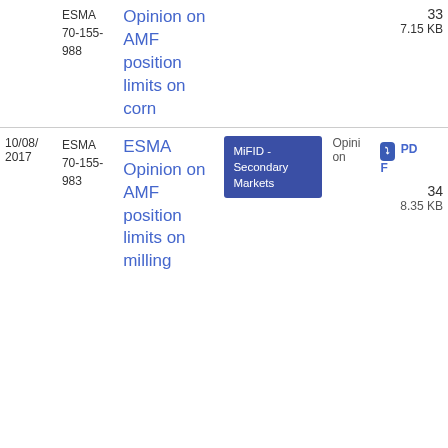| Date | Reference | Title | Tags | Type | File |
| --- | --- | --- | --- | --- | --- |
|  | ESMA 70-155-988 | Opinion on AMF position limits on corn |  | Opinion | 337.15 KB |
| 10/08/2017 | ESMA 70-155-983 | ESMA Opinion on AMF position limits on milling | MiFID - Secondary Markets | Opinion | 348.35 KB |